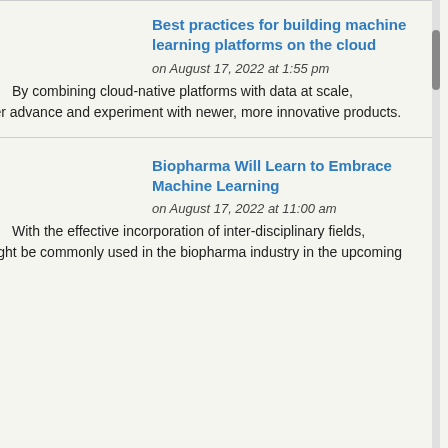Best practices for building machine learning platforms on the cloud
on August 17, 2022 at 1:55 pm
By combining cloud-native platforms with data at scale, companies can better advance and experiment with newer, more innovative products.
Biopharma Will Learn to Embrace Machine Learning
on August 17, 2022 at 11:00 am
With the effective incorporation of inter-disciplinary fields, machine learning might be commonly used in the biopharma industry in the upcoming 5–10 years.